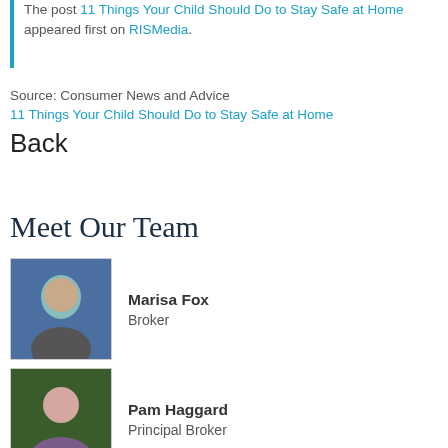The post 11 Things Your Child Should Do to Stay Safe at Home appeared first on RISMedia.
Source: Consumer News and Advice
11 Things Your Child Should Do to Stay Safe at Home
Back
Meet Our Team
Marisa Fox
Broker
Pam Haggard
Principal Broker
Tawnya Madsen, J.D.
Principal Broker
Todd Cranmer